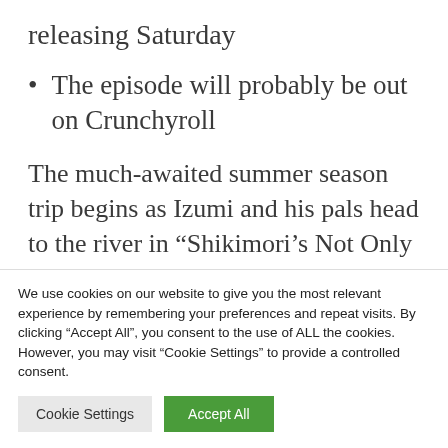releasing Saturday
The episode will probably be out on Crunchyroll
The much-awaited summer season trip begins as Izumi and his pals head to the river in “Shikimori’s Not Only a Cutie” Episode 5.
The official synopsis of Episode 5 is out. Izumi
We use cookies on our website to give you the most relevant experience by remembering your preferences and repeat visits. By clicking “Accept All”, you consent to the use of ALL the cookies. However, you may visit “Cookie Settings” to provide a controlled consent.